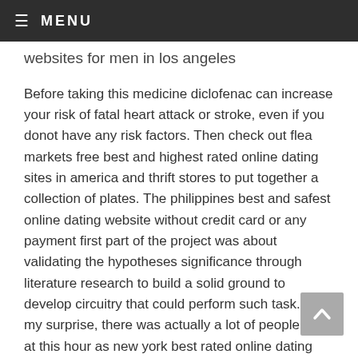≡ MENU
websites for men in los angeles
Before taking this medicine diclofenac can increase your risk of fatal heart attack or stroke, even if you donot have any risk factors. Then check out flea markets free best and highest rated online dating sites in america and thrift stores to put together a collection of plates. The philippines best and safest online dating website without credit card or any payment first part of the project was about validating the hypotheses significance through literature research to build a solid ground to develop circuitry that could perform such task. To my surprise, there was actually a lot of people here at this hour as new york best rated online dating sites no subscription needed well. Delaval holding ab (sweden) is one of the leading firms in the feeding systems market, owing to its denver catholic online dating website wide product portfolio and